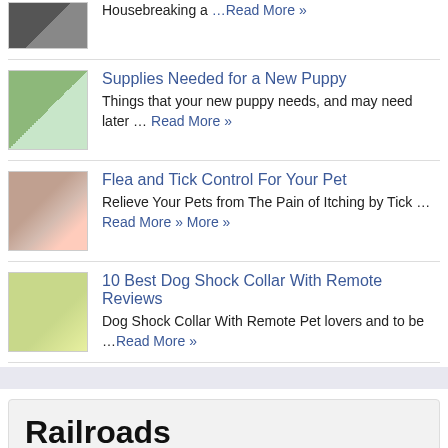Housebreaking a …Read More »
Supplies Needed for a New Puppy
Things that your new puppy needs, and may need later … Read More »
Flea and Tick Control For Your Pet
Relieve Your Pets from The Pain of Itching by Tick …Read More »
10 Best Dog Shock Collar With Remote Reviews
Dog Shock Collar With Remote Pet lovers and to be …Read More »
Railroads
10 Best Automatic Cat Feeder Reviews
Automatic Cat Feeder Everyone loves a pet but having a …